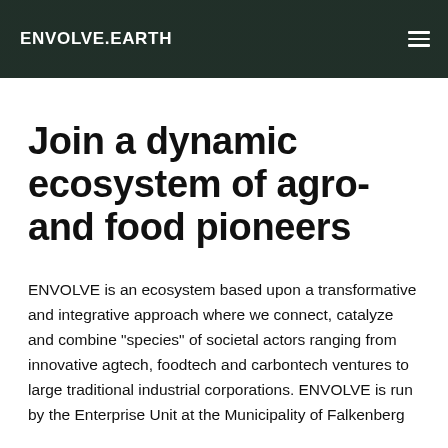ENVOLVE.EARTH
Join a dynamic ecosystem of agro- and food pioneers
ENVOLVE is an ecosystem based upon a transformative and integrative approach where we connect, catalyze and combine "species" of societal actors ranging from innovative agtech, foodtech and carbontech ventures to large traditional industrial corporations. ENVOLVE is run by the Enterprise Unit at the Municipality of Falkenberg